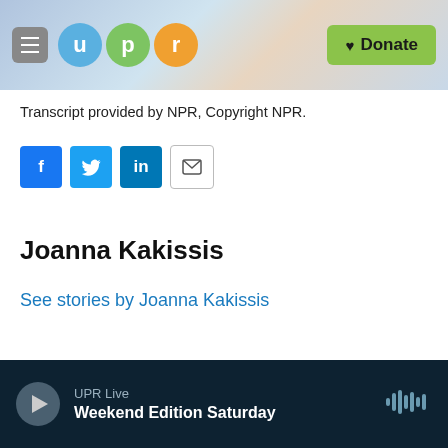[Figure (logo): UPR header with hamburger menu, UPR logo circles (u, p, r), and green Donate button]
Transcript provided by NPR, Copyright NPR.
[Figure (infographic): Social share buttons: Facebook, Twitter, LinkedIn, Email]
Joanna Kakissis
See stories by Joanna Kakissis
UPR Live
Weekend Edition Saturday